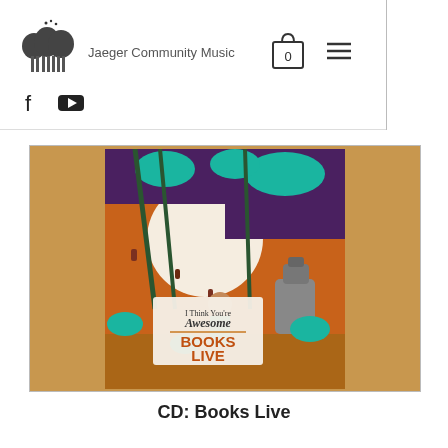Jaeger Community Music
[Figure (logo): Jaeger Community Music logo with tree/forest icon and site name]
[Figure (illustration): CD album cover for 'Books Live - I Think You're Awesome' by Books Live, featuring illustrated characters with a robot and person in a forest under a large moon, teal and orange colors]
CD: Books Live